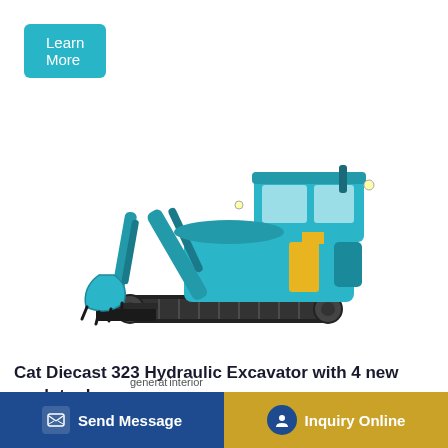Learn More
[Figure (photo): Teal/cyan mini hydraulic excavator (Kubota-branded) with cab, boom arm, bucket attachment, and front blade, on white background]
Cat Diecast 323 Hydraulic Excavator with 4 new work-tools
Send Message
Inquiry Online